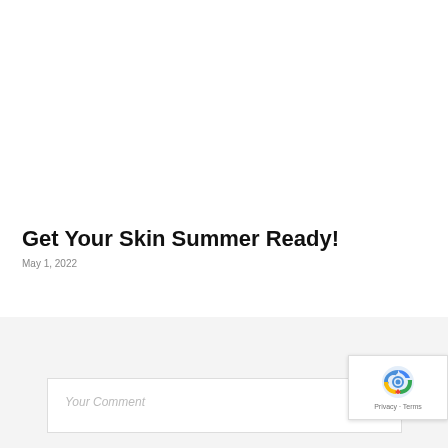Get Your Skin Summer Ready!
May 1, 2022
LEAVE A REPLY
Your Comment